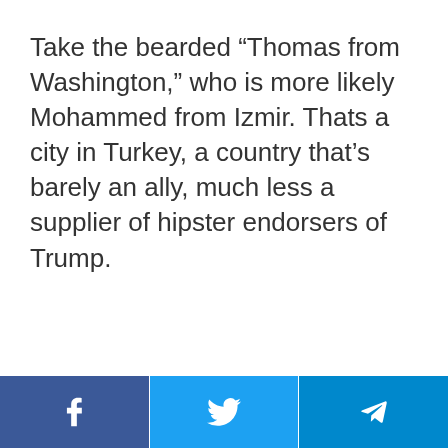Take the bearded “Thomas from Washington,” who is more likely Mohammed from Izmir. Thats a city in Turkey, a country that’s barely an ally, much less a supplier of hipster endorsers of Trump.
[Figure (other): Social media share buttons bar at the bottom: Facebook (blue), Twitter (light blue), Telegram (dark blue), each with their respective icons in white.]